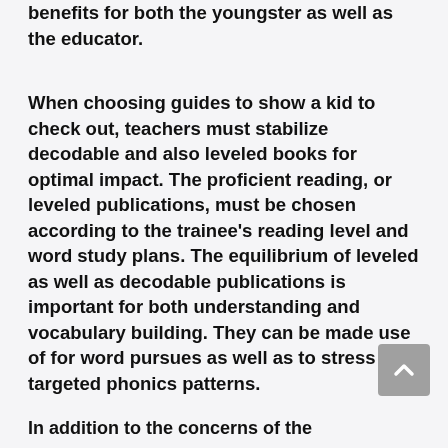benefits for both the youngster as well as the educator.
When choosing guides to show a kid to check out, teachers must stabilize decodable and also leveled books for optimal impact. The proficient reading, or leveled publications, must be chosen according to the trainee's reading level and word study plans. The equilibrium of leveled as well as decodable publications is important for both understanding and vocabulary building. They can be made use of for word pursues as well as to stress targeted phonics patterns.
In addition to the concerns of the